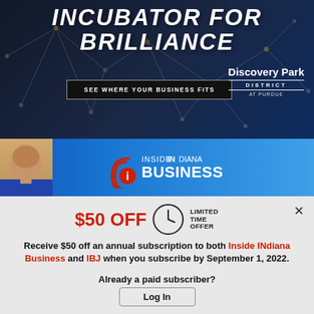[Figure (illustration): Top dark banner with network/tech dot-and-line graphic background, large italic white text 'INCUBATOR FOR BRILLIANCE', a 'SEE WHERE YOUR BUSINESS FITS' button, and Discovery Park District at Purdue logo on the right]
[Figure (illustration): Inside INdiana Business banner with blue gradient background, photo of male host on left, and 'Inside INdiana Business' logo text with radio wave icon]
$50 OFF  LIMITED TIME OFFER
Receive $50 off an annual subscription to both Inside INdiana Business and IBJ when you subscribe by September 1, 2022.
Subscribe Now
Already a paid subscriber?
Log In